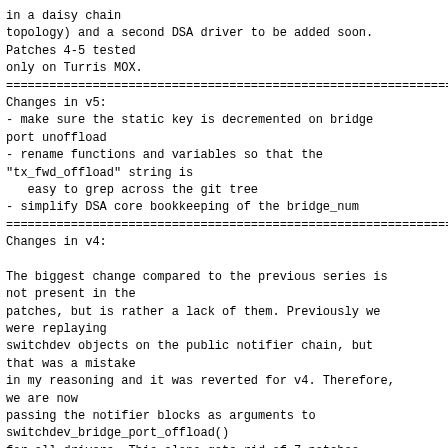in a daisy chain
topology) and a second DSA driver to be added soon.
Patches 4-5 tested
only on Turris MOX.
================================================================
Changes in v5:
- make sure the static key is decremented on bridge
port unoffload
- rename functions and variables so that the
"tx_fwd_offload" string is
   easy to grep across the git tree
- simplify DSA core bookkeeping of the bridge_num
================================================================
Changes in v4:

The biggest change compared to the previous series is
not present in the
patches, but is rather a lack of them. Previously we
were replaying
switchdev objects on the public notifier chain, but
that was a mistake
in my reasoning and it was reverted for v4. Therefore,
we are now
passing the notifier blocks as arguments to
switchdev_bridge_port_offload()
for all drivers. This alone gets rid of 7 patches